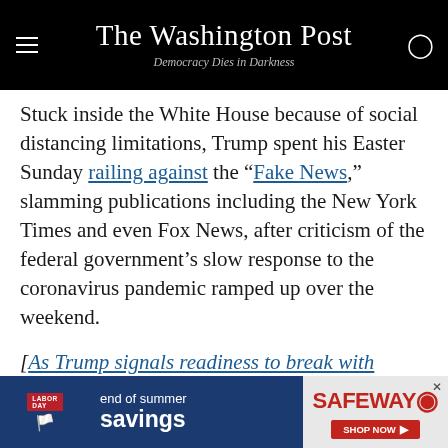The Washington Post — Democracy Dies in Darkness
Stuck inside the White House because of social distancing limitations, Trump spent his Easter Sunday railing against the “Fake News,” slamming publications including the New York Times and even Fox News, after criticism of the federal government’s slow response to the coronavirus pandemic ramped up over the weekend.
[As Trump signals readiness to break with experts, his online base assails Fauci]
The president attacked the journalists after a New York Ti...